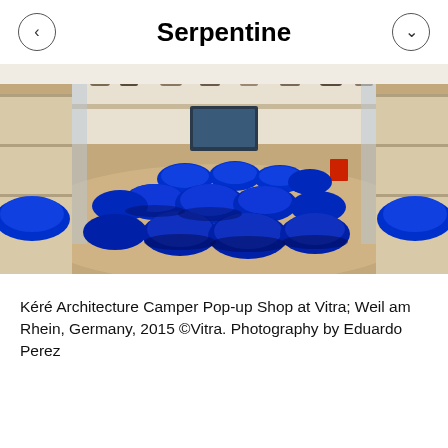Serpentine
[Figure (photo): Interior of Kéré Architecture Camper Pop-up Shop at Vitra, showing many round blue upholstered ottomans/poufs scattered across a wooden floor, with white shelving units displaying shoes along the walls and mirrors reflecting the space.]
Kéré Architecture Camper Pop-up Shop at Vitra; Weil am Rhein, Germany, 2015 ©Vitra. Photography by Eduardo Perez